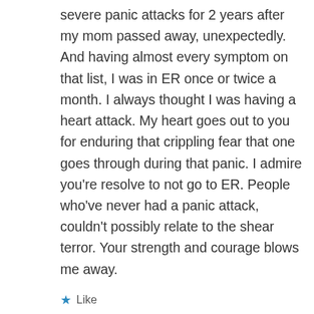severe panic attacks for 2 years after my mom passed away, unexpectedly. And having almost every symptom on that list, I was in ER once or twice a month. I always thought I was having a heart attack. My heart goes out to you for enduring that crippling fear that one goes through during that panic. I admire you're resolve to not go to ER. People who've never had a panic attack, couldn't possibly relate to the shear terror. Your strength and courage blows me away.
★ Like
↳ Reply
Christine Macdonald on January 24, 2013 at